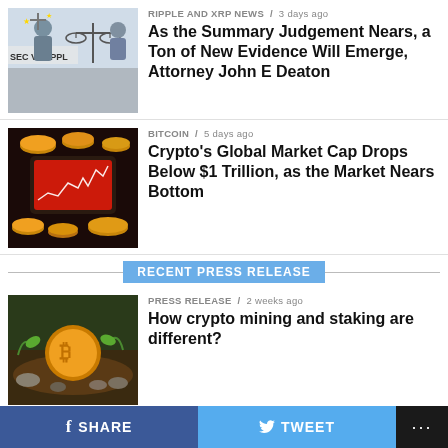[Figure (photo): SEC v. Ripple court case image with scales of justice]
RIPPLE AND XRP NEWS / 3 days ago
As the Summary Judgement Nears, a Ton of New Evidence Will Emerge, Attorney John E Deaton
[Figure (photo): Crypto market crash chart on phone with coins around it]
BITCOIN / 5 days ago
Crypto's Global Market Cap Drops Below $1 Trillion, as the Market Nears Bottom
RECENT PRESS RELEASE
[Figure (photo): Bitcoin coin emerging from soil/mining concept]
PRESS RELEASE / 2 weeks ago
How crypto mining and staking are different?
[Figure (photo): Bitcoin logo on pink background]
PRESS RELEASE / 2 weeks ago
How far has bitcoin went than other cryptos?
SHARE   TWEET   ...